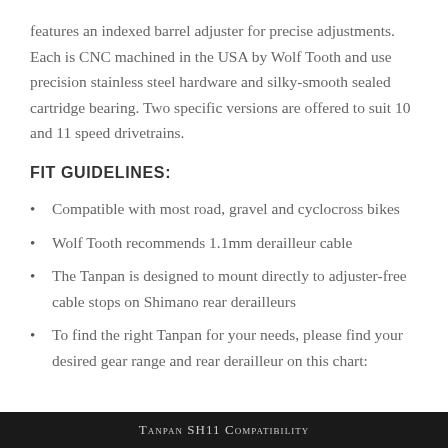features an indexed barrel adjuster for precise adjustments. Each is CNC machined in the USA by Wolf Tooth and use precision stainless steel hardware and silky-smooth sealed cartridge bearing. Two specific versions are offered to suit 10 and 11 speed drivetrains.
FIT GUIDELINES:
Compatible with most road, gravel and cyclocross bikes
Wolf Tooth recommends 1.1mm derailleur cable
The Tanpan is designed to mount directly to adjuster-free cable stops on Shimano rear derailleurs
To find the right Tanpan for your needs, please find your desired gear range and rear derailleur on this chart:
Tanpan SH11 Compatibility